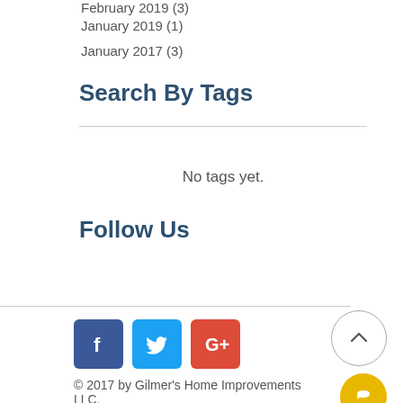February 2019 (3)
January 2019 (1)
January 2017 (3)
Search By Tags
No tags yet.
Follow Us
[Figure (illustration): Social media icons: Facebook, Twitter, Google+]
© 2017 by Gilmer's Home Improvements LLC.